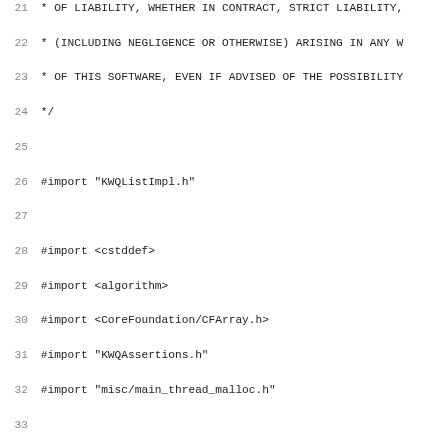Source code listing lines 21-52 of KWQListImpl implementation file